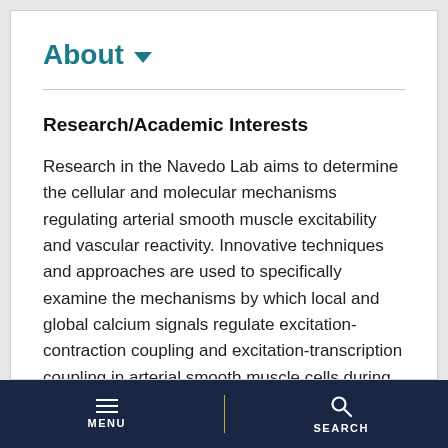About ▾
Research/Academic Interests
Research in the Navedo Lab aims to determine the cellular and molecular mechanisms regulating arterial smooth muscle excitability and vascular reactivity. Innovative techniques and approaches are used to specifically examine the mechanisms by which local and global calcium signals regulate excitation-contraction coupling and excitation-transcription coupling in arterial smooth muscle cells during physiological and pathological
MENU | SEARCH